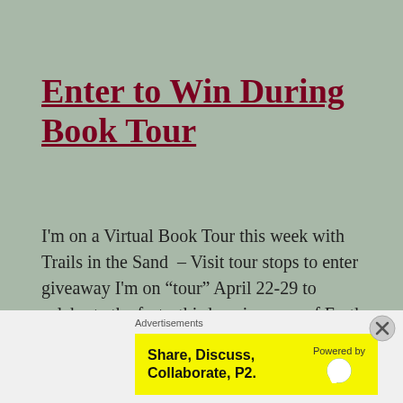Enter to Win During Book Tour
I'm on a Virtual Book Tour this week with Trails in the Sand  – Visit tour stops to enter giveaway I'm on “tour” April 22-29 to celebrate the forty-third anniversary of Earth Day and to celebrate the publication of Trails in the Sand. At each stop, you'll be able to enter a raffle for an [...]
Advertisements
[Figure (infographic): Yellow advertisement banner reading 'Share, Discuss, Collaborate, P2.' with 'Powered by WordPress' on the right side]